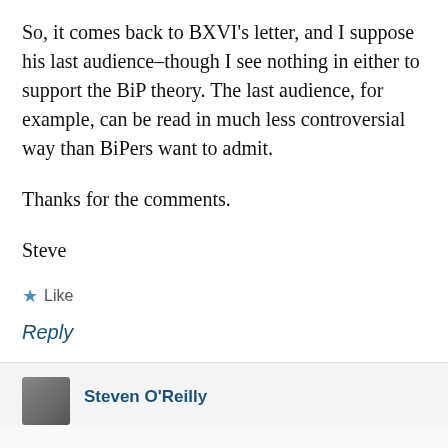So, it comes back to BXVI's letter, and I suppose his last audience–though I see nothing in either to support the BiP theory. The last audience, for example, can be read in much less controversial way than BiPers want to admit.
Thanks for the comments.
Steve
★ Like
Reply
Steven O'Reilly